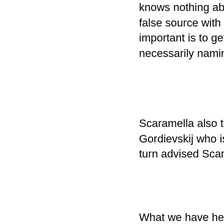knows nothing about Italy nor Prodi. Cordova literally a false source with the press- and to hell with eventual c important is to get a statement in the press to the effe necessarily naming him as a Soviet spy but heavily al
Scaramella also tells Cordova that Scotland Yard is pi Gordievskij who is under their protection. Supposedly turn advised Scaramella to ease off Gordievskij.
What we have here is a similar situation to Litvinenko's himself. It appears Scaramella repeatedly seeks out p into supporting his false charges.
Scaramella has today denied ever having done what h having ever met Berlusconi as well as the negotiations organizations as he asserted with Mr. Perry.
Both caretaker heads of the Secret Services, Generals Scaramella as an agent or an informant.
Police have raided Scaramella's offices again today. H Rome, Naples and Bologna for international arms traff